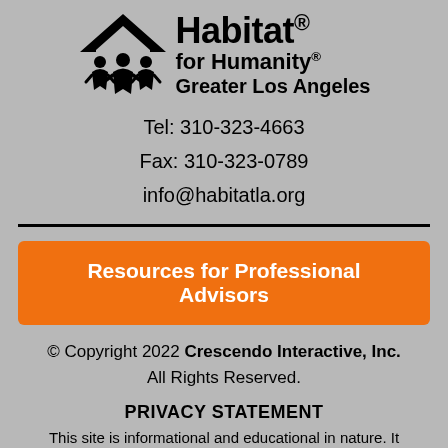[Figure (logo): Habitat for Humanity Greater Los Angeles logo with icon showing stylized figures under a roof and text 'Habitat for Humanity® Greater Los Angeles']
Tel: 310-323-4663
Fax: 310-323-0789
info@habitatla.org
Resources for Professional Advisors
© Copyright 2022 Crescendo Interactive, Inc. All Rights Reserved.
PRIVACY STATEMENT
This site is informational and educational in nature. It